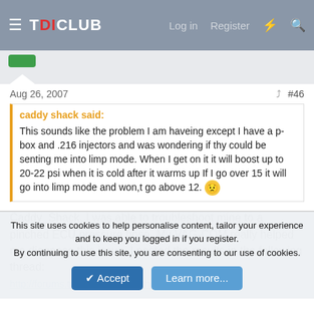TDICLUB — Log in  Register
Aug 26, 2007  #46
caddy shack said:
This sounds like the problem I am haveing except I have a p-box and .216 injectors and was wondering if thy could be senting me into limp mode. When I get on it it will boost up to 20-22 psi when it is cold after it warms up If I go over 15 it will go into limp mode and won,t go above 12. 😟
Caddy_Shack, I was able to troubleshoot mine to a pinched ECU pressure hose. My VAG-COM really helped me diagnose this issue. I posted the results in the following thread:
http://forums.tdiclub.com/showthread.php?t=169849
This site uses cookies to help personalise content, tailor your experience and to keep you logged in if you register.
By continuing to use this site, you are consenting to our use of cookies.